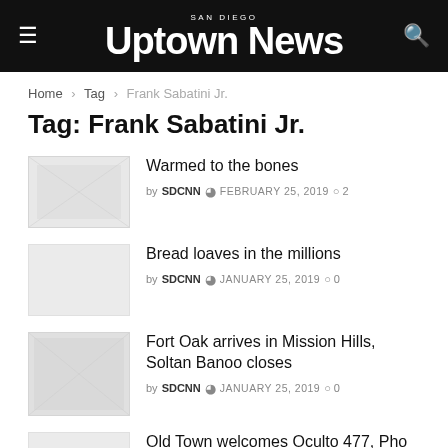San Diego Uptown News
Home › Tag › Frank Sabatini Jr.
Tag: Frank Sabatini Jr.
Warmed to the bones
by SDCNN  FEBRUARY 25, 2019  2
Bread loaves in the millions
by SDCNN  JANUARY 25, 2019  0
Fort Oak arrives in Mission Hills, Soltan Banoo closes
by SDCNN  JANUARY 25, 2019  0
Old Town welcomes Oculto 477, Pho Royal